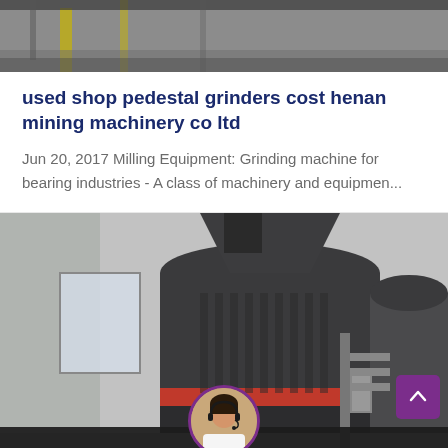[Figure (photo): Top partial image showing industrial machinery or equipment with yellow and dark structural elements on a gray background]
used shop pedestal grinders cost henan mining machinery co ltd
Jun 20, 2017 Milling Equipment: Grinding machine for bearing industries - A class of machinery and equipmen...
[Figure (photo): Industrial milling or grinding machines (large dark gray cylindrical equipment with red band) inside a factory building. A customer service representative avatar appears at the bottom center overlaid on the image.]
Leave Message    Chat Online